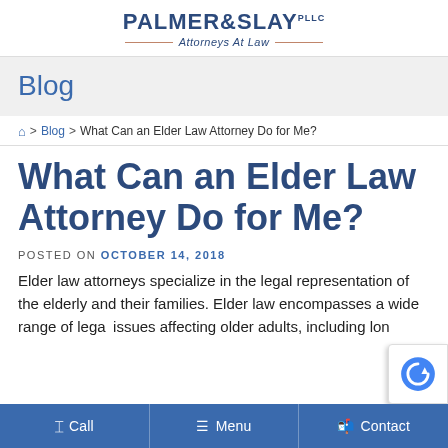PALMER&SLAY PLLC — Attorneys At Law
Blog
🏠 > Blog > What Can an Elder Law Attorney Do for Me?
What Can an Elder Law Attorney Do for Me?
POSTED ON OCTOBER 14, 2018
Elder law attorneys specialize in the legal representation of the elderly and their families. Elder law encompasses a wide range of legal issues affecting older adults, including long...
Call   Menu   Contact